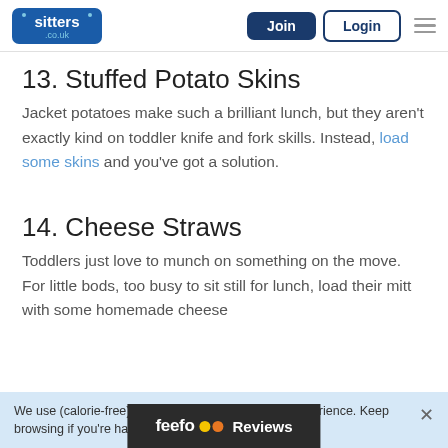sitters.co.uk — Join | Login
13. Stuffed Potato Skins
Jacket potatoes make such a brilliant lunch, but they aren't exactly kind on toddler knife and fork skills. Instead, load some skins and you've got a solution.
14. Cheese Straws
Toddlers just love to munch on something on the move. For little bods, too busy to sit still for lunch, load their mitt with some homemade cheese…
We use (calorie-free) cookies to give you the best experience. Keep browsing if you're ha… manage cookies